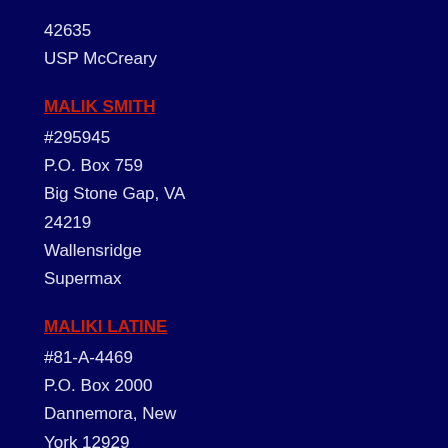42635
USP McCreary
MALIK SMITH
#295945
P.O. Box 759
Big Stone Gap, VA
24219
Wallensridge
Supermax
MALIKI LATINE
#81-A-4469
P.O. Box 2000
Dannemora, New
York 12929
R.I.P. MARILYN BUCK